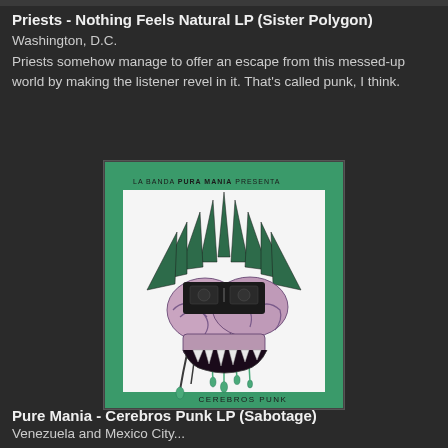Priests - Nothing Feels Natural LP (Sister Polygon)
Washington, D.C.
Priests somehow manage to offer an escape from this messed-up world by making the listener revel in it. That's called punk, I think.
[Figure (illustration): Album cover for Pura Mania - Cerebros Punk LP. Shows a stylized brain creature with plant spikes emerging from the top and dripping liquid, on a white background with a green border. Text reads 'LA BANDA PURA MANIA PRESENTA' at top and 'CEREBROS PUNK' at bottom.]
Pure Mania - Cerebros Punk LP (Sabotage)